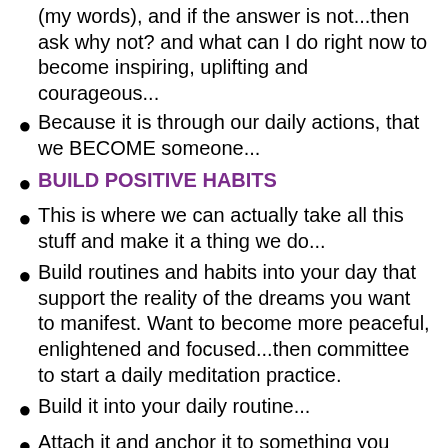(my words), and if the answer is not...then ask why not? and what can I do right now to become inspiring, uplifting and courageous...
Because it is through our daily actions, that we BECOME someone...
BUILD POSITIVE HABITS
This is where we can actually take all this stuff and make it a thing we do...
Build routines and habits into your day that support the reality of the dreams you want to manifest. Want to become more peaceful, enlightened and focused...then committee to start a daily meditation practice.
Build it into your daily routine...
Attach it and anchor it to something you already to so you are reminded by association...it can be brushing your teeth, getting dressed or peeing...I don't care...whatever it will work for you, just make it happen.
Build a support system that will keep you accountable IF and only IF, you need this sort of